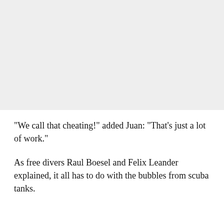[Figure (other): Grey placeholder image area occupying the top portion of the page]
"We call that cheating!" added Juan: "That's just a lot of work."
As free divers Raul Boesel and Felix Leander explained, it all has to do with the bubbles from scuba tanks.